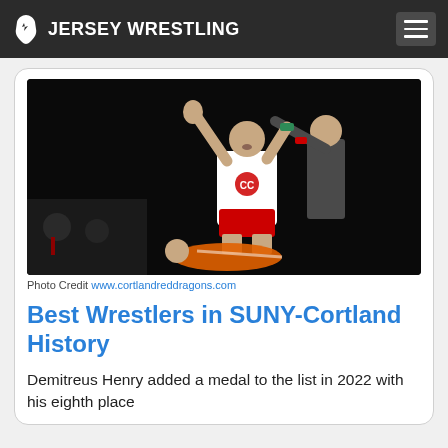JERSEY WRESTLING
[Figure (photo): A wrestler in a white and red singlet with arms raised in victory, being held up by a referee in a dark gymnasium. Another wrestler is on the ground below.]
Photo Credit www.cortlandreddragons.com
Best Wrestlers in SUNY-Cortland History
Demitreus Henry added a medal to the list in 2022 with his eighth place